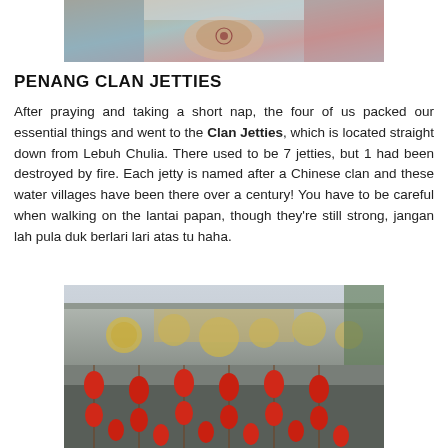[Figure (photo): Top portion of a photo showing a person with henna-decorated hands, wearing colorful clothing, in a car or indoor setting.]
PENANG CLAN JETTIES
After praying and taking a short nap, the four of us packed our essential things and went to the Clan Jetties, which is located straight down from Lebuh Chulia. There used to be 7 jetties, but 1 had been destroyed by fire. Each jetty is named after a Chinese clan and these water villages have been there over a century! You have to be careful when walking on the lantai papan, though they're still strong, jangan lah pula duk berlari lari atas tu haha.
[Figure (photo): Photo of a Chinese clan jetty building entrance with red lanterns hanging, decorative gold circles on the facade, and a grey sky in the background.]